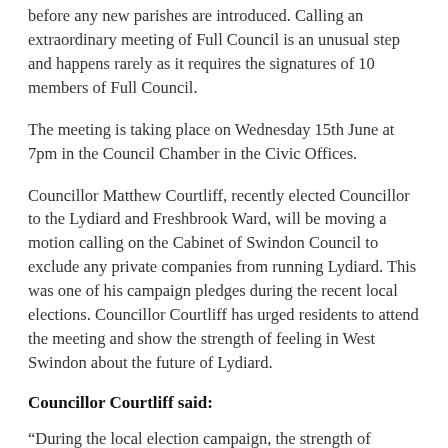before any new parishes are introduced. Calling an extraordinary meeting of Full Council is an unusual step and happens rarely as it requires the signatures of 10 members of Full Council.
The meeting is taking place on Wednesday 15th June at 7pm in the Council Chamber in the Civic Offices.
Councillor Matthew Courtliff, recently elected Councillor to the Lydiard and Freshbrook Ward, will be moving a motion calling on the Cabinet of Swindon Council to exclude any private companies from running Lydiard. This was one of his campaign pledges during the recent local elections. Councillor Courtliff has urged residents to attend the meeting and show the strength of feeling in West Swindon about the future of Lydiard.
Councillor Courtliff said:
“During the local election campaign, the strength of feeling about Lydiard was clear and I made a pledge to ensure control would not be given away to a private